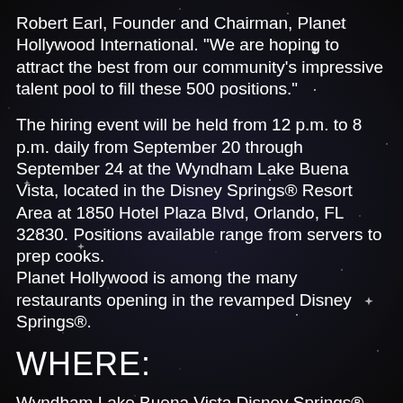Robert Earl, Founder and Chairman, Planet Hollywood International. “We are hoping to attract the best from our community’s impressive talent pool to fill these 500 positions.”
The hiring event will be held from 12 p.m. to 8 p.m. daily from September 20 through September 24 at the Wyndham Lake Buena Vista, located in the Disney Springs® Resort Area at 1850 Hotel Plaza Blvd, Orlando, FL 32830. Positions available range from servers to prep cooks. Planet Hollywood is among the many restaurants opening in the revamped Disney Springs®.
WHERE:
Wyndham Lake Buena Vista Disney Springs® Resort Area
1850 Hotel Plaza Blvd